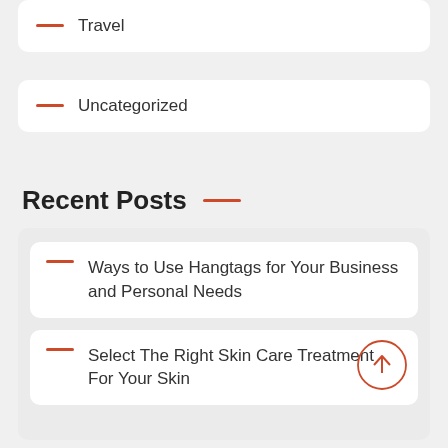Travel
Uncategorized
Recent Posts
Ways to Use Hangtags for Your Business and Personal Needs
Select The Right Skin Care Treatment For Your Skin